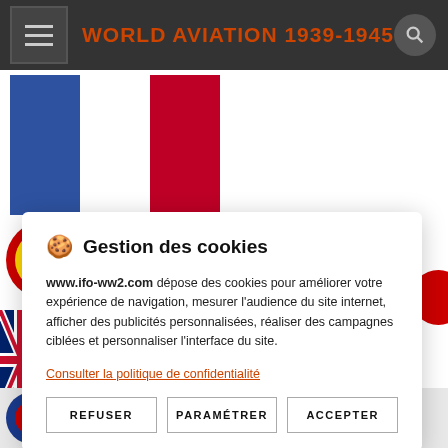WORLD AVIATION 1939-1945
[Figure (illustration): French tricolor flag (blue, white, red vertical stripes)]
[Figure (illustration): French Air Force roundels — circular cockade insignia in red/yellow/blue]
🍪 Gestion des cookies
www.ifo-ww2.com dépose des cookies pour améliorer votre expérience de navigation, mesurer l'audience du site internet, afficher des publicités personnalisées, réaliser des campagnes ciblées et personnaliser l'interface du site.
Consulter la politique de confidentialité
REFUSER | PARAMÉTRER | ACCEPTER